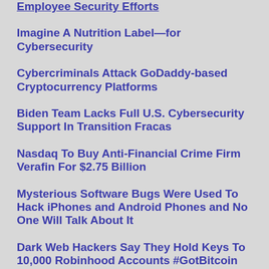Employee Security Efforts
Imagine A Nutrition Label—for Cybersecurity
Cybercriminals Attack GoDaddy-based Cryptocurrency Platforms
Biden Team Lacks Full U.S. Cybersecurity Support In Transition Fracas
Nasdaq To Buy Anti-Financial Crime Firm Verafin For $2.75 Billion
Mysterious Software Bugs Were Used To Hack iPhones and Android Phones and No One Will Talk About It
Dark Web Hackers Say They Hold Keys To 10,000 Robinhood Accounts #GotBitcoin
Hackers Steal $2.3 Million From Trump Wisconsin Campaign Account